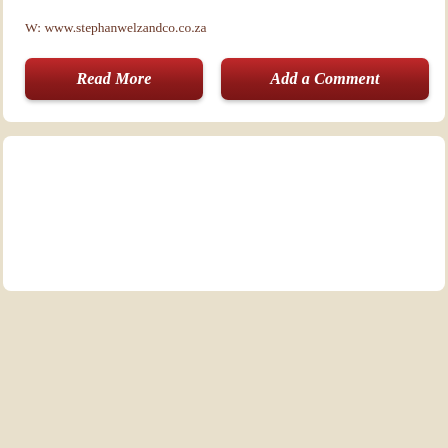W: www.stephanwelzandco.co.za
[Figure (screenshot): Two red buttons labeled 'Read More' and 'Add a Comment' with italic white text, styled with a dark red gradient and rounded corners.]